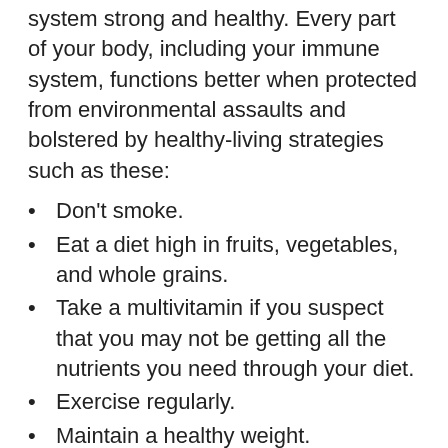system strong and healthy. Every part of your body, including your immune system, functions better when protected from environmental assaults and bolstered by healthy-living strategies such as these:
Don't smoke.
Eat a diet high in fruits, vegetables, and whole grains.
Take a multivitamin if you suspect that you may not be getting all the nutrients you need through your diet.
Exercise regularly.
Maintain a healthy weight.
Control your stress level.
Control your blood pressure.
If you drink alcohol, drink only in moderation (no more than one to two drinks a day for men, no more than one a day for women).